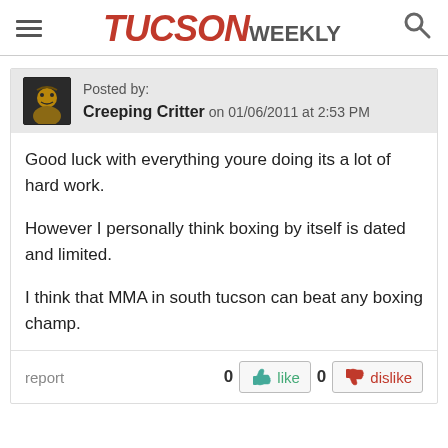TUCSON WEEKLY
Posted by: Creeping Critter on 01/06/2011 at 2:53 PM
Good luck with everything youre doing its a lot of hard work.

However I personally think boxing by itself is dated and limited.

I think that MMA in south tucson can beat any boxing champ.
report   0  like   0  dislike